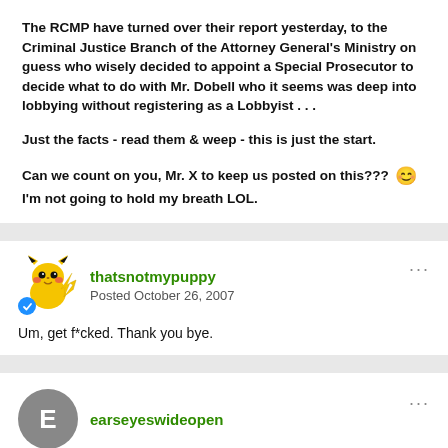The RCMP have turned over their report yesterday, to the Criminal Justice Branch of the Attorney General's Ministry on guess who wisely decided to appoint a Special Prosecutor to decide what to do with Mr. Dobell who it seems was deep into lobbying without registering as a Lobbyist . . .

Just the facts - read them & weep - this is just the start.

Can we count on you, Mr. X to keep us posted on this??? 😊 I'm not going to hold my breath LOL.
thatsnotmypuppy
Posted October 26, 2007

Um, get f*cked. Thank you bye.
earseyeswideopen